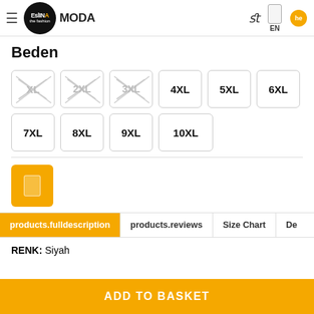Eslina Moda — EN
Beden
XL (unavailable), 2XL (unavailable), 3XL (unavailable), 4XL, 5XL, 6XL, 7XL, 8XL, 9XL, 10XL
Color swatch: yellow/orange
Tab: products.fulldescription (active), products.reviews, Size Chart, De...
RENK: Siyah
ADD TO BASKET